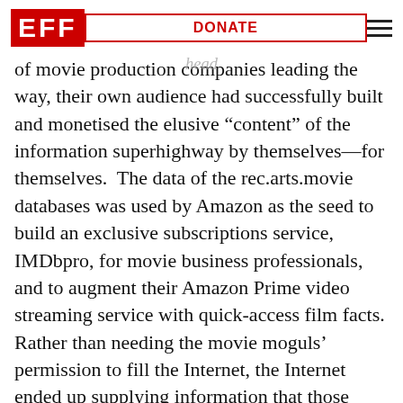EFF | DONATE
ows how the assumptions about internet growth were turned on their head. Instead of movie production companies leading the way, their own audience had successfully built and monetised the elusive “content” of the information superhighway by themselves—for themselves.  The data of the rec.arts.movie databases was used by Amazon as the seed to build an exclusive subscriptions service, IMDbpro, for movie business professionals, and to augment their Amazon Prime video streaming service with quick-access film facts. Rather than needing the movie moguls’ permission to fill the Internet, the Internet ended up supplying information that those moguls themselves happily paid a new, digital mogul for.
But what about those volunteers who gave their time and labor to the collective effort of building